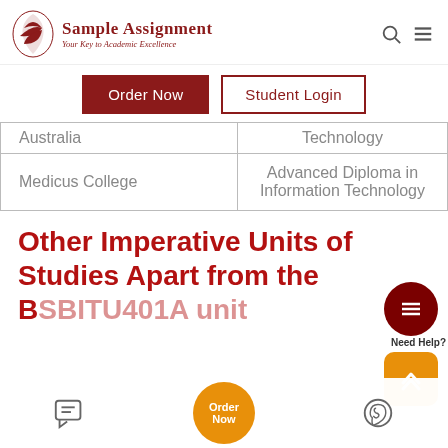Sample Assignment — Your Key to Academic Excellence
| Institution | Qualification |
| --- | --- |
| Australia | Technology |
| Medicus College | Advanced Diploma in Information Technology |
Other Imperative Units of Studies Apart from the BSBITU401A unit